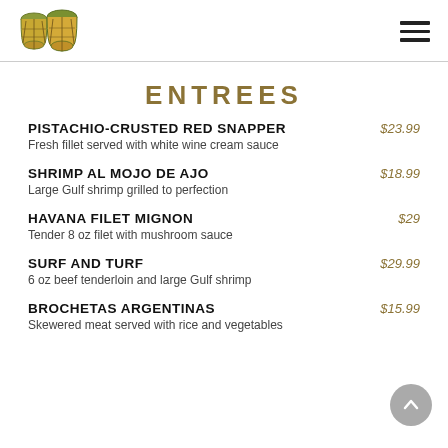[Figure (logo): Two bongo drums illustration, green and yellow-brown colored]
ENTREES
PISTACHIO-CRUSTED RED SNAPPER
Fresh fillet served with white wine cream sauce
$23.99
SHRIMP AL MOJO DE AJO
Large Gulf shrimp grilled to perfection
$18.99
HAVANA FILET MIGNON
Tender 8 oz filet with mushroom sauce
$29
SURF AND TURF
6 oz beef tenderloin and large Gulf shrimp
$29.99
BROCHETAS ARGENTINAS
Skewered meat served with rice and vegetables
$15.99